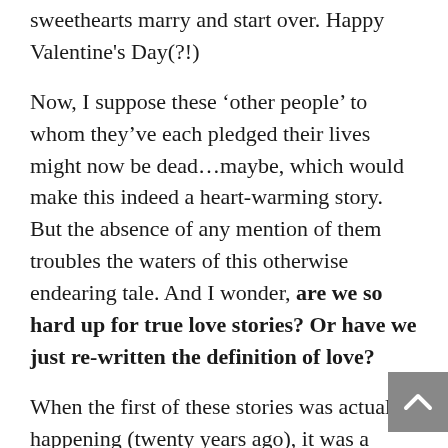sweethearts marry and start over. Happy Valentine's Day(?!)
Now, I suppose these ‘other people’ to whom they’ve each pledged their lives might now be dead…maybe, which would make this indeed a heart-warming story. But the absence of any mention of them troubles the waters of this otherwise endearing tale. And I wonder, are we so hard up for true love stories? Or have we just re-written the definition of love?
When the first of these stories was actually happening (twenty years ago), it was a scandal that rocked the political world. As prominent leaders they were forced to abandon their